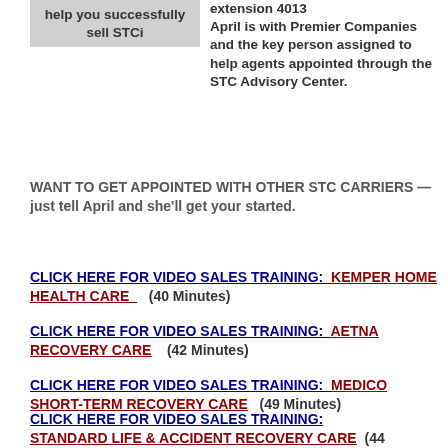help you successfully sell STCi
extension 4013 April is with Premier Companies and the key person assigned to help agents appointed through the STC Advisory Center.
WANT TO GET APPOINTED WITH OTHER STC CARRIERS — just tell April and she'll get your started.
CLICK HERE FOR VIDEO SALES TRAINING:  KEMPER HOME HEALTH CARE     (40 Minutes)
CLICK HERE FOR VIDEO SALES TRAINING:  AETNA RECOVERY CARE      (42 Minutes)
CLICK HERE FOR VIDEO SALES TRAINING:  MEDICO SHORT-TERM RECOVERY CARE     (49 Minutes)
CLICK HERE FOR VIDEO SALES TRAINING:  STANDARD LIFE & ACCIDENT RECOVERY CARE     (44 Minutes)